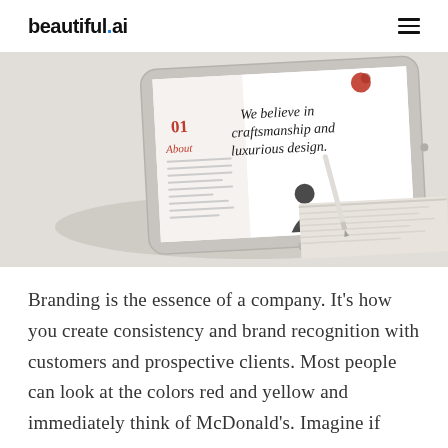beautiful.ai
[Figure (screenshot): A tablet device displaying a presentation slide with text 'We believe in craftsmanship and luxurious design.' and '01 About' label, placed on a white furry surface with a book and stylus nearby.]
Branding is the essence of a company. It's how you create consistency and brand recognition with customers and prospective clients. Most people can look at the colors red and yellow and immediately think of McDonald's. Imagine if